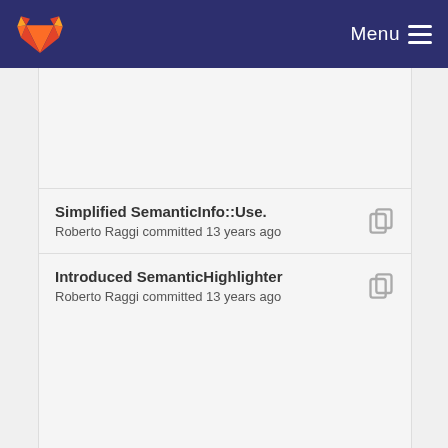Menu
Simplified SemanticInfo::Use.
Roberto Raggi committed 13 years ago
Introduced SemanticHighlighter
Roberto Raggi committed 13 years ago